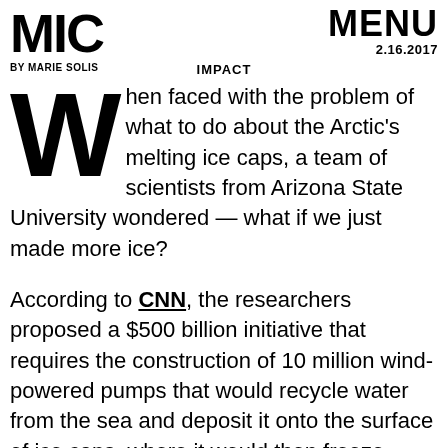MIC BY MARIE SOLIS   IMPACT   MENU 2.16.2017
When faced with the problem of what to do about the Arctic's melting ice caps, a team of scientists from Arizona State University wondered — what if we just made more ice?
According to CNN, the researchers proposed a $500 billion initiative that requires the construction of 10 million wind-powered pumps that would recycle water from the sea and deposit it onto the surface of ice caps, where it would then freeze.